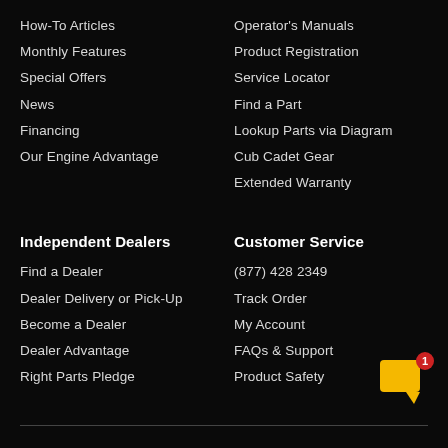How-To Articles
Monthly Features
Special Offers
News
Financing
Our Engine Advantage
Operator's Manuals
Product Registration
Service Locator
Find a Part
Lookup Parts via Diagram
Cub Cadet Gear
Extended Warranty
Independent Dealers
Find a Dealer
Dealer Delivery or Pick-Up
Become a Dealer
Dealer Advantage
Right Parts Pledge
Customer Service
(877) 428 2349
Track Order
My Account
FAQs & Support
Product Safety
[Figure (illustration): Yellow speech bubble / chat widget icon with red notification badge showing number 1]